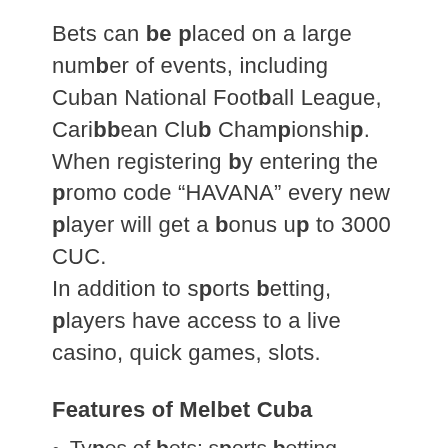Bets can be placed on a large number of events, including Cuban National Football League, Caribbean Club Championship. When registering by entering the promo code “HAVANA” every new player will get a bonus up to 3000 CUC.
In addition to sports betting, players have access to a live casino, quick games, slots.
Features of Melbet Cuba
Types of bets: sports betting, horse racing, live betting, virtual sports, weekly tournaments, Live, results, politics, results, weather, bonuses, cybersports, etc.
Huge selection of games (over 2500 slots)